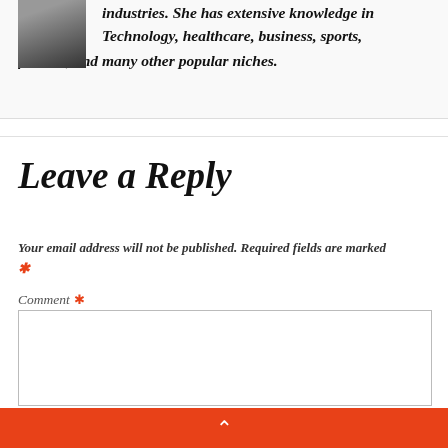industries. She has extensive knowledge in Technology, healthcare, business, sports, fashion, and many other popular niches.
Leave a Reply
Your email address will not be published. Required fields are marked *
Comment *